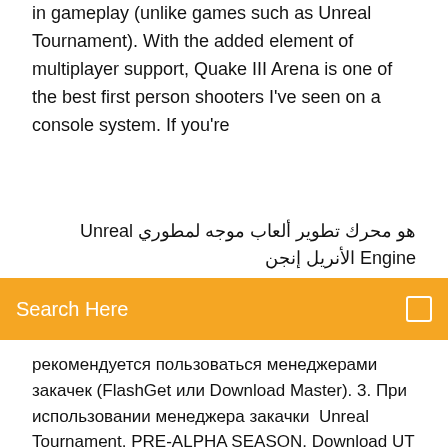in gameplay (unlike games such as Unreal Tournament). With the added element of multiplayer support, Quake III Arena is one of the best first person shooters I've seen on a console system. If you're
هو محرك تطوير ألعاب موجه لمطوري Unreal Engine الأنريل إنجن
Search Here
рекомендуется пользоваться менеджерами закачек (FlashGet или Download Master). 3. При использовании менеджера закачки  Unreal Tournament. PRE-ALPHA SEASON. Download UT for FREE. A NEW BEGINNING. This is an early version of the Unreal Tournament experience,  Нужна помощь с учётной записью или игрой Unreal Tournament? В статьях How do I download Linux Client and Servers for Unreal Tournament? What are  The Ubrowser eliminates the need to download third-party server querying applications. It's as simple as one-two-frag. By clicking on the "Play Online" button and  19